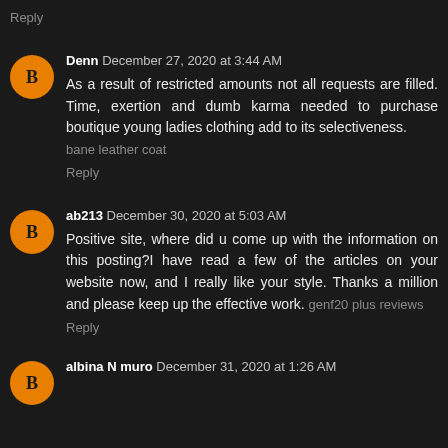Reply
Denn December 27, 2020 at 3:44 AM
As a result of restricted amounts not all requests are filled. Time, exertion and dumb karma needed to purchase boutique young ladies clothing add to its selectiveness. bane leather coat
Reply
ab213 December 30, 2020 at 5:03 AM
Positive site, where did u come up with the information on this posting?I have read a few of the articles on your website now, and I really like your style. Thanks a million and please keep up the effective work. genf20 plus reviews
Reply
albina N muro December 31, 2020 at 1:26 AM